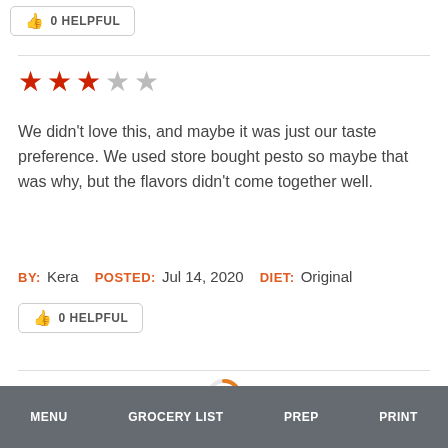[Figure (other): A '0 HELPFUL' button with thumbs-up icon, top of page (partially visible)]
[Figure (other): 3 out of 5 red stars rating]
We didn't love this, and maybe it was just our taste preference. We used store bought pesto so maybe that was why, but the flavors didn't come together well.
BY: Kera   POSTED: Jul 14, 2020   DIET: Original
[Figure (other): A '0 HELPFUL' button with thumbs-up icon]
[Figure (other): Orange loading spinner circle]
MENU   GROCERY LIST   PREP   PRINT